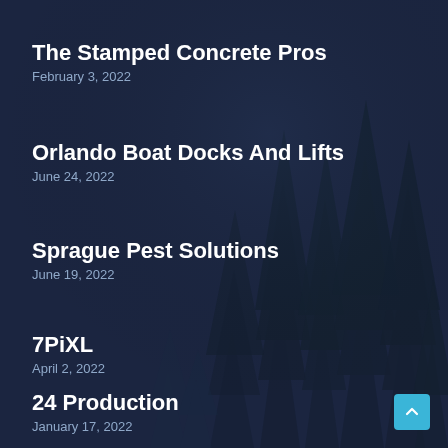[Figure (illustration): Dark navy blue background with silhouettes of pine/fir trees in a darker shade of blue creating a forest night scene]
The Stamped Concrete Pros
February 3, 2022
Orlando Boat Docks And Lifts
June 24, 2022
Sprague Pest Solutions
June 19, 2022
7PiXL
April 2, 2022
24 Production
January 17, 2022